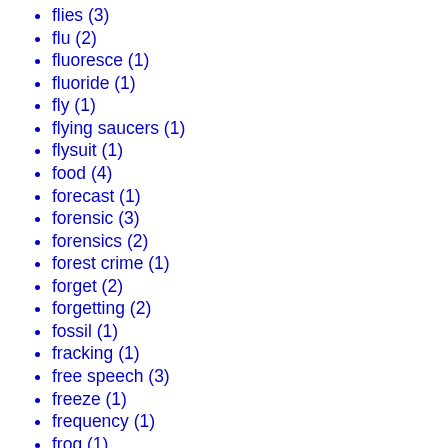flies (3)
flu (2)
fluoresce (1)
fluoride (1)
fly (1)
flying saucers (1)
flysuit (1)
food (4)
forecast (1)
forensic (3)
forensics (2)
forest crime (1)
forget (2)
forgetting (2)
fossil (1)
fracking (1)
free speech (3)
freeze (1)
frequency (1)
frog (1)
frogs (1)
fruit (1)
fruit fly (2)
full adder (1)
funding (1)